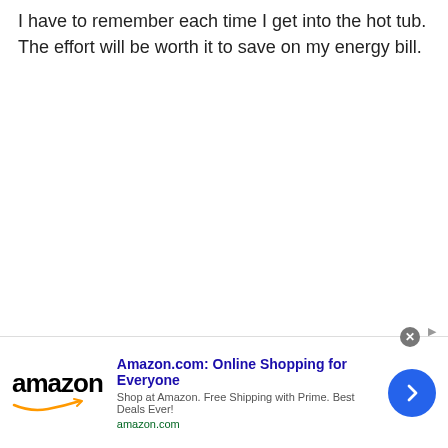I have to remember each time I get into the hot tub. The effort will be worth it to save on my energy bill.
[Figure (other): Amazon advertisement banner. Shows Amazon logo with arrow, headline 'Amazon.com: Online Shopping for Everyone', description 'Shop at Amazon. Free Shipping with Prime. Best Deals Ever!', URL 'amazon.com', and a blue circular arrow button.]